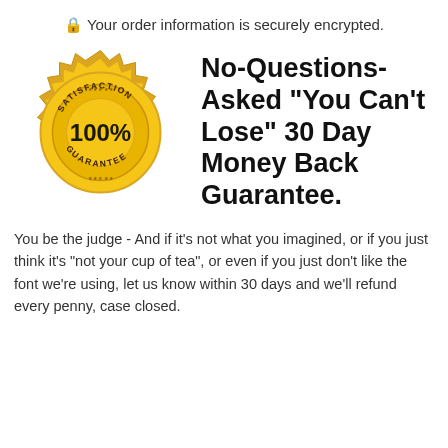🔒 Your order information is securely encrypted.
[Figure (illustration): Gold satisfaction guarantee badge/seal with '100%' in center and 'SATISFACTION GUARANTEE' text around it]
No-Questions-Asked "You Can't Lose" 30 Day Money Back Guarantee.
You be the judge - And if it's not what you imagined, or if you just think it's "not your cup of tea", or even if you just don't like the font we're using, let us know within 30 days and we'll refund every penny, case closed.